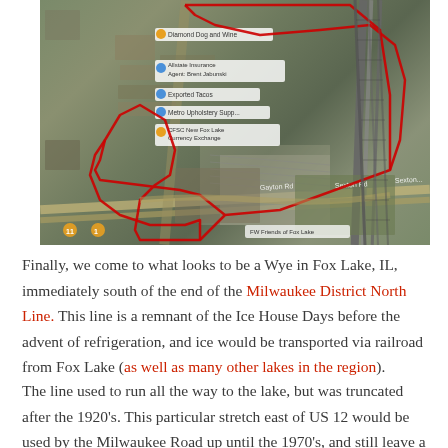[Figure (map): Aerial satellite map view of a Wye junction in Fox Lake, IL, immediately south of the end of the Milwaukee District North Line. A red outlined polygon highlights the rail wye area. The map shows roads, parking lots, railroad tracks, and nearby businesses including Diamond Dog and Wine, Allstate Insurance Agent Brent Jabunski, Exported Tacos, Metro Upholstery Supply, CFSC New Fox Lake Currency Exchange, and FW Friends of Fox Lake.]
Finally, we come to what looks to be a Wye in Fox Lake, IL, immediately south of the end of the Milwaukee District North Line. This line is a remnant of the Ice House Days before the advent of refrigeration, and ice would be transported via railroad from Fox Lake (as well as many other lakes in the region).
The line used to run all the way to the lake, but was truncated after the 1920's. This particular stretch east of US 12 would be used by the Milwaukee Road up until the 1970's, and still leave a mark of its existence which can easily be seen today.